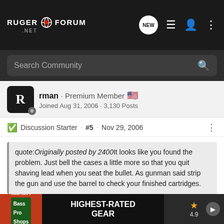Ruger Forum .NET — Navigation bar with search
rman · Premium Member
Joined Aug 31, 2006 · 3,130 Posts
Discussion Starter · #5 · Nov 29, 2006
quote:Originally posted by 2400It looks like you found the problem. Just bell the cases a little more so that you quit shaving lead when you seat the bullet. As gunman said strip the gun and use the barrel to check your finished cartridges.
I think that was the problem...the lead kind of peels back and the cartridge is trying to headspace on it instead of the case itself. It's my fault - I checked the good box with the barrel, but didn't thi... a balance... ting the case mo... ithout